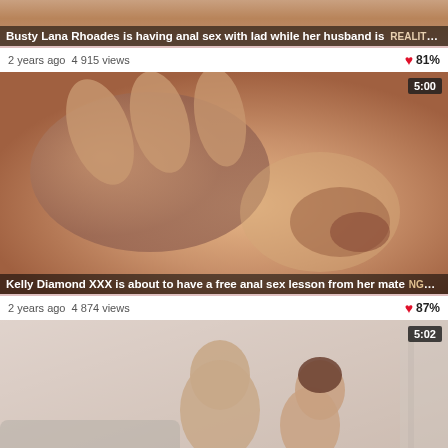[Figure (photo): Partial view of a video thumbnail — top portion cropped]
Busty Lana Rhoades is having anal sex with lad while her husband is
2 years ago  4 915 views  81%
[Figure (photo): Close-up adult video thumbnail with duration badge 5:00]
Kelly Diamond XXX is about to have a free anal sex lesson from her mate
2 years ago  4 874 views  87%
[Figure (photo): Adult video thumbnail showing two people, duration badge 5:02]
Tempting hottie Sandra C is getting ass banged from the back and moaning from plea